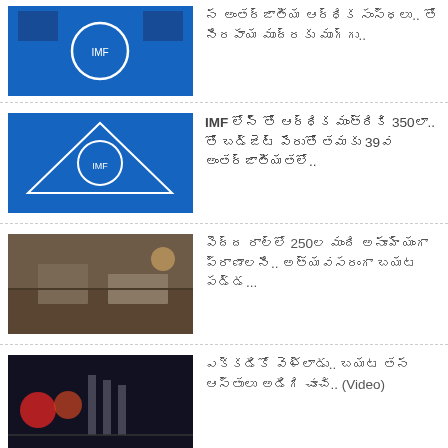న అంతర్జాతీయ ఆర్థిక సంస్థలు.. తో నిరపాయ ముద్రకు ముగ్గు..
IMF లోన్ తో ఆర్థిక మంత్రికి 350లా.. తో బడ్జెట్ పేరుతో తమకు 39వ అంతర్జాతీయతలో..
పెద్ద రాల్లో 250ల మంది అనూహ్యంగా ప్రాణాలని.. అత్యవసరంగా బయట పడ్డ...
ఎక్కడికో వెళ్లాడు.. బయట తన ఆస్తులు అడిగి చూచి.. (Video)
You May Like
Sponsored Links by Taboola
[Figure (photo): Bald man portrait photo]
ఆస్తిపాస్తులు లేని అనాథ అంటున్నారు ఆడది కోసం ఆడతాడు.. ఇది చూసిన తల ఆడించకుండా ఉండలేరు..